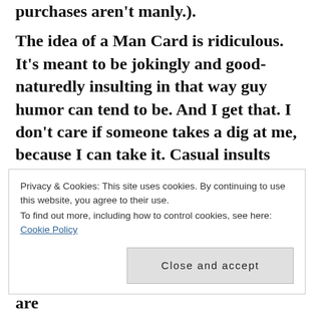purchases aren't manly.).
The idea of a Man Card is ridiculous. It's meant to be jokingly and good-naturedly insulting in that way guy humor can tend to be. And I get that. I don't care if someone takes a dig at me, because I can take it. Casual insults happen, and in fact I often feel more accepted if a friend can hurl them at me, because that means he's comfortable enough to not worry about being mistaken for someone who
saying about our respective roles. Men are
Privacy & Cookies: This site uses cookies. By continuing to use this website, you agree to their use.
To find out more, including how to control cookies, see here: Cookie Policy

Close and accept